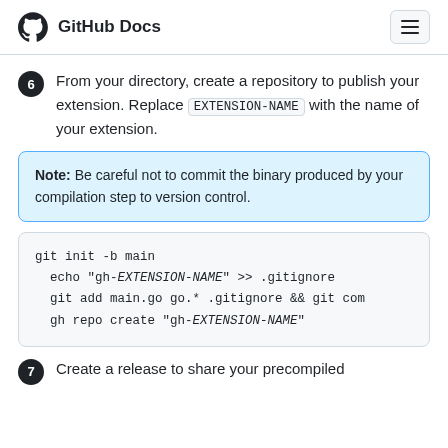GitHub Docs
6 From your directory, create a repository to publish your extension. Replace EXTENSION-NAME with the name of your extension.
Note: Be careful not to commit the binary produced by your compilation step to version control.
git init -b main
  echo "gh-EXTENSION-NAME" >> .gitignore
  git add main.go go.* .gitignore && git com
  gh repo create "gh-EXTENSION-NAME"
7 Create a release to share your precompiled